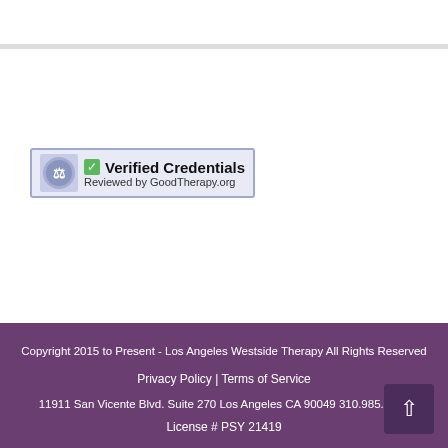[Figure (logo): Verified Credentials badge - Reviewed by GoodTherapy.org, with a checkmark icon and circular emblem]
Copyright 2015 to Present - Los Angeles Westside Therapy All Rights Reserved
Privacy Policy | Terms of Service
11911 San Vicente Blvd. Suite 270 Los Angeles CA 90049 310.985.2491
License # PSY 21419